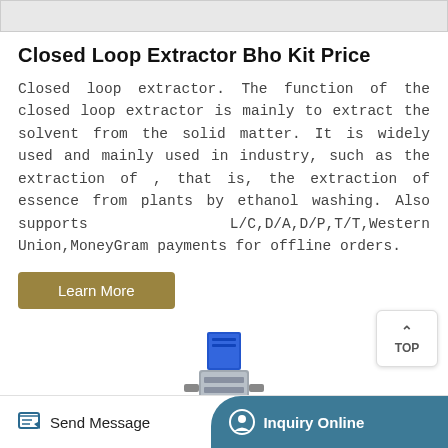[Figure (photo): Top partial image bar showing a product photo (cropped)]
Closed Loop Extractor Bho Kit Price
Closed loop extractor. The function of the closed loop extractor is mainly to extract the solvent from the solid matter. It is widely used and mainly used in industry, such as the extraction of , that is, the extraction of essence from plants by ethanol washing. Also supports L/C,D/A,D/P,T/T,Western Union,MoneyGram payments for offline orders.
[Figure (photo): Product image of a valve or extractor component, blue and silver metallic industrial part]
Send Message | Inquiry Online